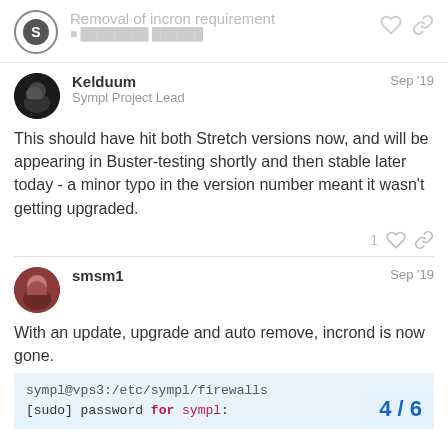Removal of incron requirement
Kelduum — Sympl Project Lead — Sep '19
This should have hit both Stretch versions now, and will be appearing in Buster-testing shortly and then stable later today - a minor typo in the version number meant it wasn't getting upgraded.
smsm1 — Sep '19
With an update, upgrade and auto remove, incrond is now gone.
sympl@vps3:/etc/sympl/firewalls
[sudo] password for sympl: